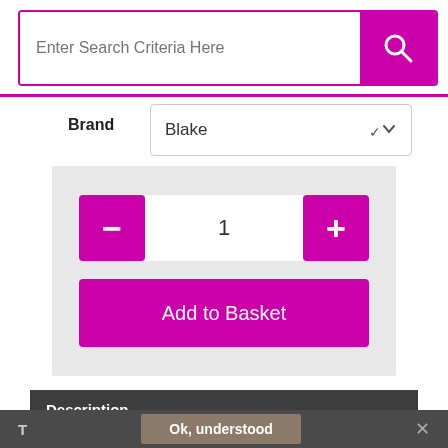[Figure (screenshot): Search bar with text placeholder 'Enter Search Criteria Here' and a magenta search button with magnifying glass icon]
Brand
[Figure (screenshot): Dropdown selector showing 'Blake' with chevron]
[Figure (screenshot): Quantity selector with minus button (magenta), input showing '1', plus button (magenta), and 'Add to Basket' magenta button below]
Description
Size: DL (110×220mm)QTY: 500 EnvelopesProduct Type: WalletSealing Type: Self SealColour: WhiteWeight: 100gsm
T   Ok, understood   ✕